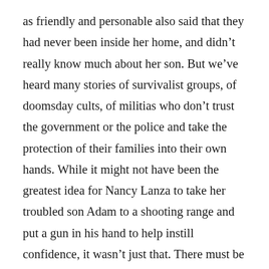as friendly and personable also said that they had never been inside her home, and didn't really know much about her son. But we've heard many stories of survivalist groups, of doomsday cults, of militias who don't trust the government or the police and take the protection of their families into their own hands. While it might not have been the greatest idea for Nancy Lanza to take her troubled son Adam to a shooting range and put a gun in his hand to help instill confidence, it wasn't just that. There must be some switch that gets flipped, a circuit that gets tripped somehow. Can it simply be a matter of brain chemistry or a malformed frontal lobe that turns unhappiness into violence?